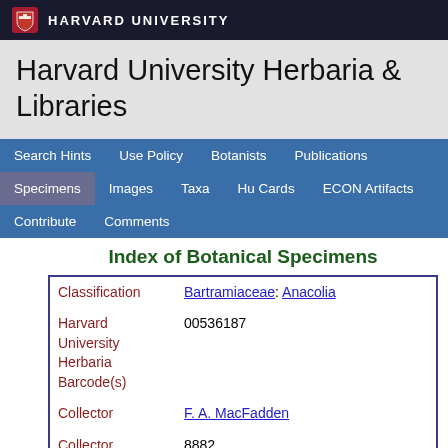HARVARD UNIVERSITY
Harvard University Herbaria & Libraries
Search Hints  Use Policy  Botanists  Publications  Specimens  Images  Taxa  Hu Cards  ECON Artifacts  Contribute  Comments
Index of Botanical Specimens
| Field | Value |
| --- | --- |
| Classification | Bartramiaceae: Anacolia |
| Harvard University Herbaria Barcode(s) | 00536187 |
| Collector | F. A. MacFadden |
| Collector number | 8882 |
| Country | United States of America |
| State | California |